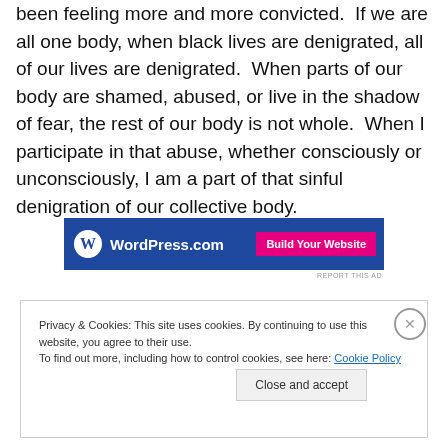been feeling more and more convicted. If we are all one body, when black lives are denigrated, all of our lives are denigrated. When parts of our body are shamed, abused, or live in the shadow of fear, the rest of our body is not whole. When I participate in that abuse, whether consciously or unconsciously, I am a part of that sinful denigration of our collective body.
[Figure (other): WordPress.com advertisement banner with logo and 'Build Your Website' button]
REPORT THIS AD
Privacy & Cookies: This site uses cookies. By continuing to use this website, you agree to their use.
To find out more, including how to control cookies, see here: Cookie Policy
Close and accept